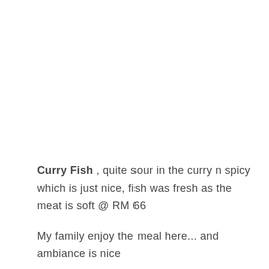Curry Fish , quite sour in the curry n spicy which is just nice, fish was fresh as the meat is soft @ RM 66
My family enjoy the meal here... and ambiance is nice